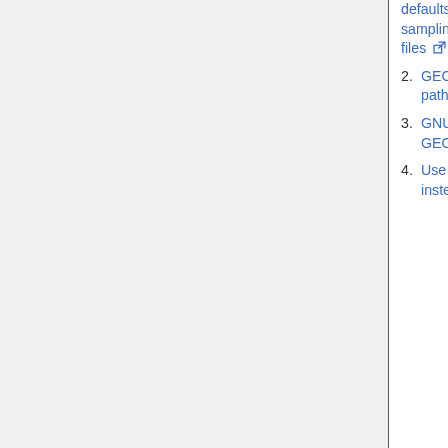| (continued) | Liam Bindle (GCST) |
| --- | --- |
| 1. defaults to hourly sampling if a sampling interval is not found in data files [link] |  |
| 2. GEOS-Chem now prints the full path of each file that is read [link] |  |
| 3. GNU Fortran 9.2.1 can now compile GEOS-Chem [link] |  |
| 4. Use Microsoft Azure DevOps instead of TravisCI for continuous... |  |